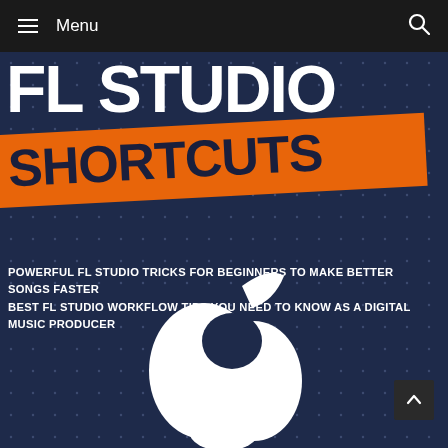Menu
[Figure (illustration): Book cover for 'FL Studio Shortcuts' — dark navy blue background with dot pattern, large white bold text 'FL STUDIO' at top, 'SHORTCUTS' in bold black text on orange diagonal banner, subtitle text below, and white FL Studio fruit/logo icon at the bottom center. Scroll-to-top button in lower right.]
FL STUDIO SHORTCUTS
POWERFUL FL STUDIO TRICKS FOR BEGINNERS TO MAKE BETTER SONGS FASTER BEST FL STUDIO WORKFLOW TIPS YOU NEED TO KNOW AS A DIGITAL MUSIC PRODUCER